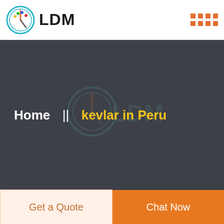[Figure (logo): LDM circular logo with compass/palette icon and LDM text]
[Figure (other): Orange grid dots pattern in top right corner]
[Figure (other): Dark hero banner with watermark LDM logo centered]
Home  ||  kevlar in Peru
Get a Quote
Chat Now